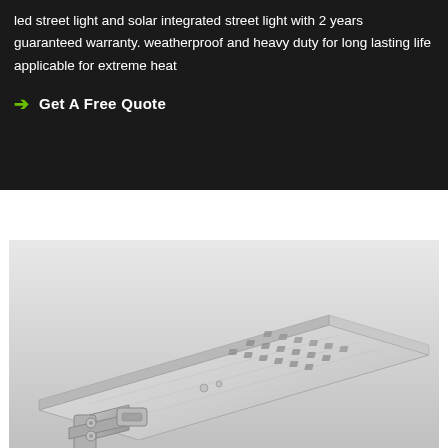led street light and solar integrated street light with 2 years guaranteed warranty. weatherproof and heavy duty for long lasting life applicable for extreme heat
→ Get A Free Quote
[Figure (photo): Close-up photograph of a solar integrated LED street light unit showing the flat silver/white panel with LED array and mounting bracket hardware]